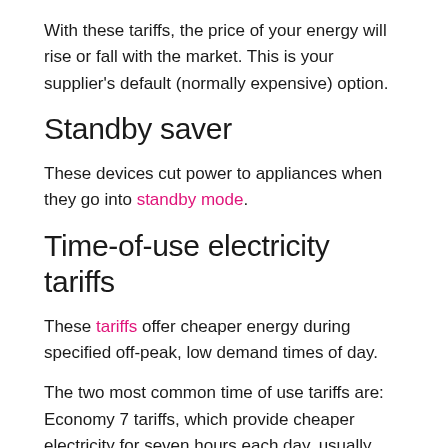With these tariffs, the price of your energy will rise or fall with the market. This is your supplier's default (normally expensive) option.
Standby saver
These devices cut power to appliances when they go into standby mode.
Time-of-use electricity tariffs
These tariffs offer cheaper energy during specified off-peak, low demand times of day.
The two most common time of use tariffs are: Economy 7 tariffs, which provide cheaper electricity for seven hours each day, usually